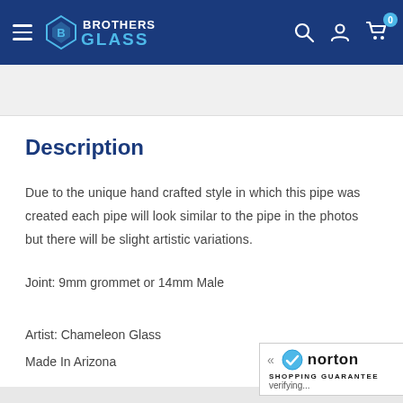Brothers Glass — navigation header
Description
Due to the unique hand crafted style in which this pipe was created each pipe will look similar to the pipe in the photos but there will be slight artistic variations.
Joint: 9mm grommet or 14mm Male
Artist: Chameleon Glass
Made In Arizona
[Figure (logo): Norton Shopping Guarantee badge with verifying status]